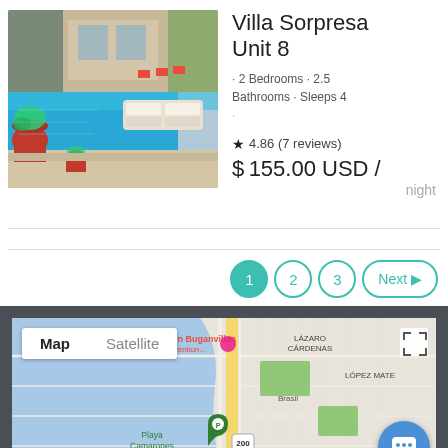[Figure (photo): Outdoor pool area with lounge chairs, red planters with plants, and building facade in background]
Villa Sorpresa Unit 8
· 2 Bedrooms · 2.5 Bathrooms · Sleeps 4
·
★ 4.86 (7 reviews)
$155.00 USD / night
[Figure (map): Google Map showing Puerto Vallarta area with Sheraton Buganvillas, Lázaro Cárdenas, López Mate, Brasil, Playa Camarones, Agua Azul labels. Includes Map/Satellite toggle and chat button.]